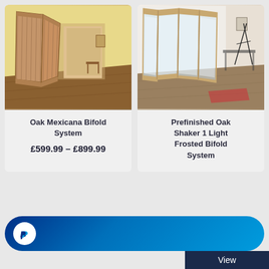[Figure (photo): Oak Mexicana Bifold System - wooden bifold doors in a warm yellow room with wooden floor]
Oak Mexicana Bifold System
£599.99 – £899.99
[Figure (photo): Prefinished Oak Shaker 1 Light Frosted Bifold System - glass panel bifold doors in a modern room]
Prefinished Oak Shaker 1 Light Frosted Bifold System
[Figure (logo): PayPal button - dark blue pill-shaped button with PayPal P logo]
View